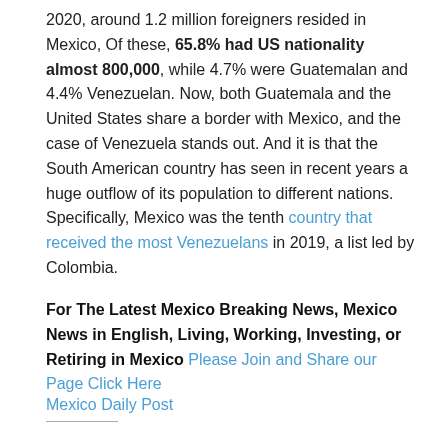2020, around 1.2 million foreigners resided in Mexico, Of these, 65.8% had US nationality almost 800,000, while 4.7% were Guatemalan and 4.4% Venezuelan. Now, both Guatemala and the United States share a border with Mexico, and the case of Venezuela stands out. And it is that the South American country has seen in recent years a huge outflow of its population to different nations. Specifically, Mexico was the tenth country that received the most Venezuelans in 2019, a list led by Colombia.
For The Latest Mexico Breaking News, Mexico News in English, Living, Working, Investing, or Retiring in Mexico Please Join and Share our Page Click Here
Mexico Daily Post